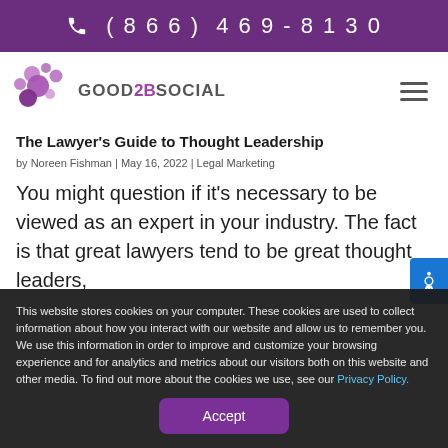(866) 469-8130
[Figure (logo): Good2BSocial logo with purple bubble icons and stylized text]
The Lawyer's Guide to Thought Leadership
by Noreen Fishman | May 16, 2022 | Legal Marketing
You might question if it's necessary to be viewed as an expert in your industry. The fact is that great lawyers tend to be great thought leaders,
This website stores cookies on your computer. These cookies are used to collect information about how you interact with our website and allow us to remember you. We use this information in order to improve and customize your browsing experience and for analytics and metrics about our visitors both on this website and other media. To find out more about the cookies we use, see our Privacy Policy.
Accept